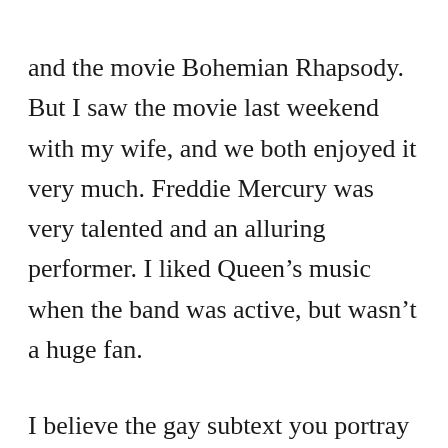and the movie Bohemian Rhapsody. But I saw the movie last weekend with my wife, and we both enjoyed it very much. Freddie Mercury was very talented and an alluring performer. I liked Queen’s music when the band was active, but wasn’t a huge fan.
I believe the gay subtext you portray is too strong. Freddie was bisexual and had a long-term romantic relationship with a woman. Anyway, thanks for your viewpoint. To other readers I encourage them to experience the movie in their own shoes. Sit in the theater and just enjoy it, especially the Live Aid